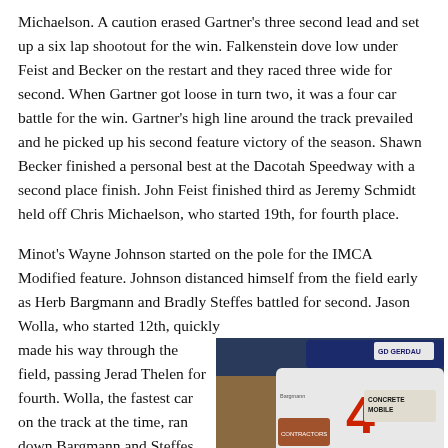Michaelson. A caution erased Gartner's three second lead and set up a six lap shootout for the win. Falkenstein dove low under Feist and Becker on the restart and they raced three wide for second. When Gartner got loose in turn two, it was a four car battle for the win. Gartner's high line around the track prevailed and he picked up his second feature victory of the season. Shawn Becker finished a personal best at the Dacotah Speedway with a second place finish. John Feist finished third as Jeremy Schmidt held off Chris Michaelson, who started 19th, for fourth place.
Minot's Wayne Johnson started on the pole for the IMCA Modified feature. Johnson distanced himself from the field early as Herb Bargmann and Bradly Steffes battled for second. Jason Wolla, who started 12th, quickly made his way through the field, passing Jerad Thelen for fourth. Wolla, the fastest car on the track at the time, ran down Bargmann and Steffes and as they continued to race hard for second, Wolla passed them both...
[Figure (photo): Racing cars on a dirt track, including a white car with GERDAU and CONCRETE MOBILE sponsorship logos and number 4, alongside a colorful car with yellow and pink markings.]